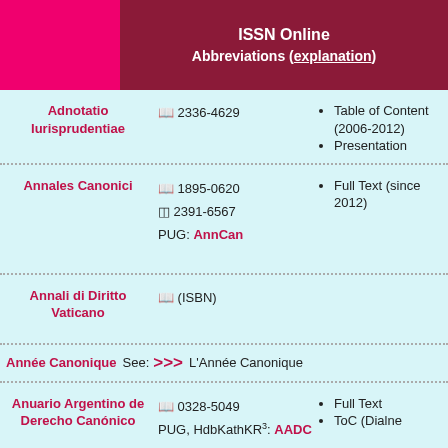ISSN Online Abbreviations (explanation)
| Title | ISSN / PUG | Links |
| --- | --- | --- |
| Adnotatio Iurisprudentiae | 🕮 2336-4629 | Table of Content (2006-2012)
Presentation |
| Annales Canonici | 🕮 1895-0620
🖥 2391-6567
PUG: AnnCan | Full Text (since 2012) |
| Annali di Diritto Vaticano | 🕮 (ISBN) |  |
| Année Canonique | See: >>> L'Année Canonique |  |
| Anuario Argentino de Derecho Canónico | 🕮 0328-5049
PUG, HdbKathKR³: AADC | Full Text
ToC (Dialne |